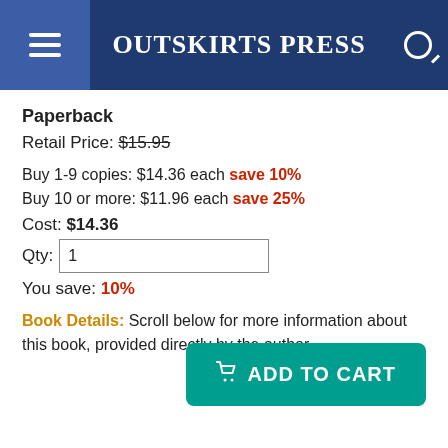OUTSKIRTS PRESS
Paperback
Retail Price: $15.95
Buy 1-9 copies: $14.36 each save 10%
Buy 10 or more: $11.96 each save 25%
Cost: $14.36
Qty: 1
You save: 10%
Book Details: Scroll below for more information about this book, provided directly by the author.
[Figure (other): Add to Cart button in teal/green color with shopping cart icon]